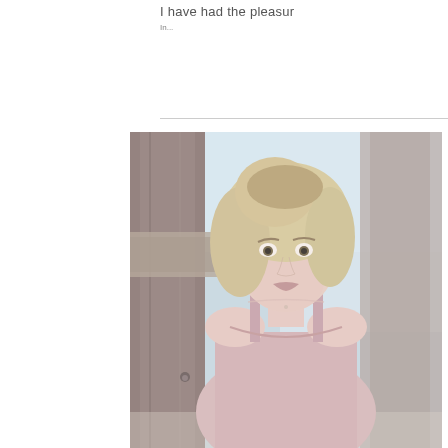I have had the pleasur
[Figure (photo): Portrait photograph of a blonde woman wearing a light pink/mauve tank top, standing in front of weathered wooden posts/structure, with a light blue sky and water in the background. The woman has shoulder-length wavy blonde hair and is looking directly at the camera.]